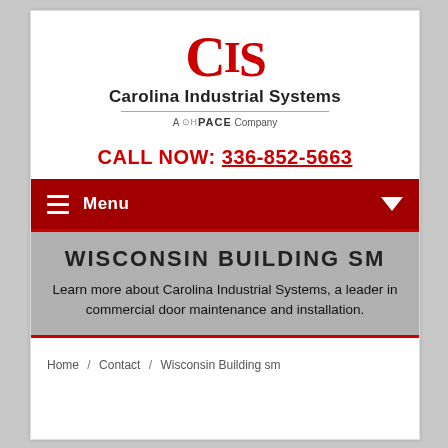[Figure (logo): CIS - Carolina Industrial Systems logo with red CIS letters, company name, and OHPACE company tagline]
CALL NOW: 336-852-5663
Menu
WISCONSIN BUILDING SM
Learn more about Carolina Industrial Systems, a leader in commercial door maintenance and installation.
Home / Contact / Wisconsin Building sm